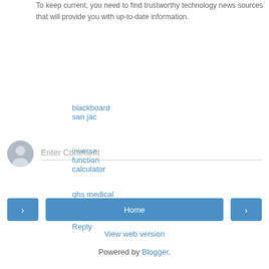To keep current, you need to find trustworthy technology news sources that will provide you with up-to-date information.
blackboard san jac
inverse function calculator
qhs medical abbreviation
Reply
Enter Comment
Home
View web version
Powered by Blogger.